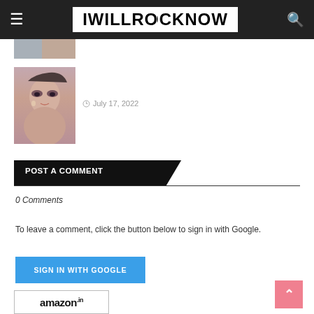IWILLROCKNOW
[Figure (photo): Partial thumbnail of an article image at the top]
[Figure (photo): Portrait photo of a woman with makeup, smoky eyes and earrings]
July 17, 2022
POST A COMMENT
0 Comments
To leave a comment, click the button below to sign in with Google.
SIGN IN WITH GOOGLE
[Figure (logo): amazon.in logo]